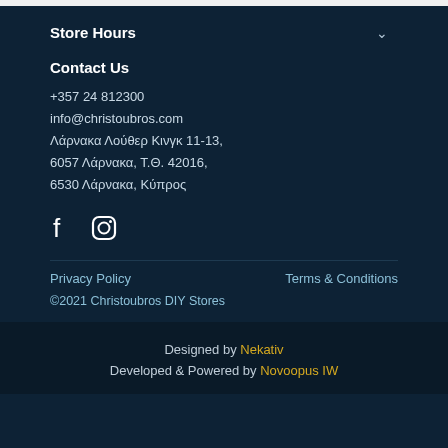Store Hours
Contact Us
+357 24 812300
info@christoubros.com
Λάρνακα Λούθερ Κινγκ 11-13,
6057 Λάρνακα, Τ.Θ. 42016,
6530 Λάρνακα, Κύπρος
[Figure (other): Facebook and Instagram social media icons]
Privacy Policy
Terms & Conditions
©2021 Christoubros DIY Stores
Designed by Nekativ
Developed & Powered by Novoopus IW